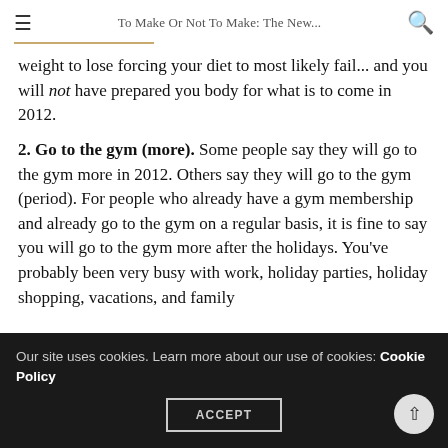To Make Or Not To Make: The New...
weight to lose forcing your diet to most likely fail... and you will not have prepared you body for what is to come in 2012.
2. Go to the gym (more). Some people say they will go to the gym more in 2012. Others say they will go to the gym (period). For people who already have a gym membership and already go to the gym on a regular basis, it is fine to say you will go to the gym more after the holidays. You've probably been very busy with work, holiday parties, holiday shopping, vacations, and family
Our site uses cookies. Learn more about our use of cookies: Cookie Policy